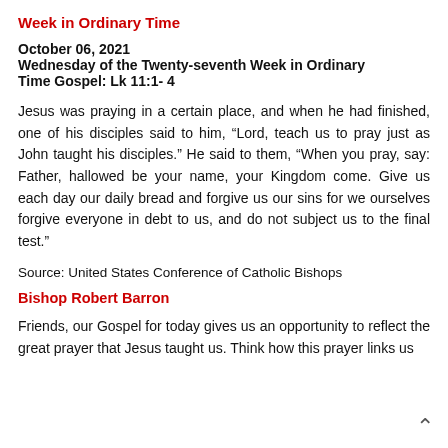Week in Ordinary Time
October 06, 2021
Wednesday of the Twenty-seventh Week in Ordinary Time Gospel: Lk 11:1- 4
Jesus was praying in a certain place, and when he had finished, one of his disciples said to him, “Lord, teach us to pray just as John taught his disciples.” He said to them, “When you pray, say: Father, hallowed be your name, your Kingdom come. Give us each day our daily bread and forgive us our sins for we ourselves forgive everyone in debt to us, and do not subject us to the final test.”
Source: United States Conference of Catholic Bishops
Bishop Robert Barron
Friends, our Gospel for today gives us an opportunity to reflect the great prayer that Jesus taught us. Think how this prayer links us